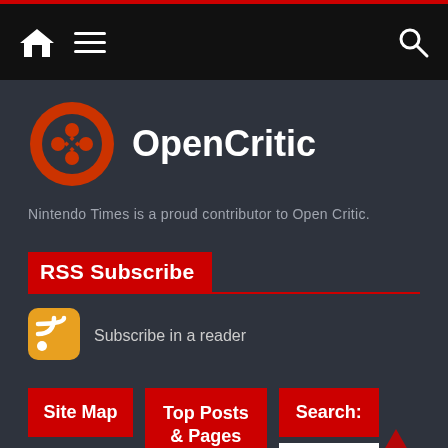Navigation bar with home, menu, and search icons
[Figure (logo): OpenCritic logo: orange circular icon with game controller cross/X design, beside bold white text 'OpenCritic']
Nintendo Times is a proud contributor to Open Critic.
RSS Subscribe
[Figure (other): Orange RSS feed icon (rounded square with white wifi/signal arc symbol)]
Subscribe in a reader
Site Map
Top Posts & Pages
Search:
News